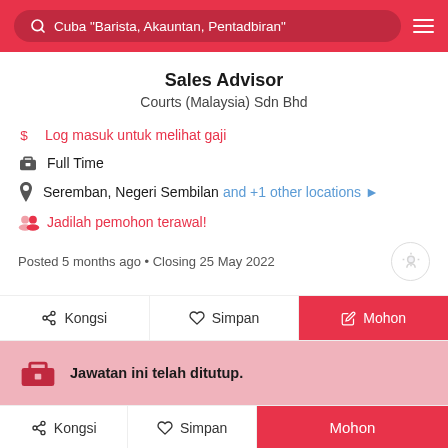Cuba "Barista, Akauntan, Pentadbiran"
Sales Advisor
Courts (Malaysia) Sdn Bhd
Log masuk untuk melihat gaji
Full Time
Seremban, Negeri Sembilan and +1 other locations
Jadilah pemohon terawal!
Posted 5 months ago • Closing 25 May 2022
Kongsi    Simpan    Mohon
Jawatan ini telah ditutup.
Kongsi    Simpan    Mohon